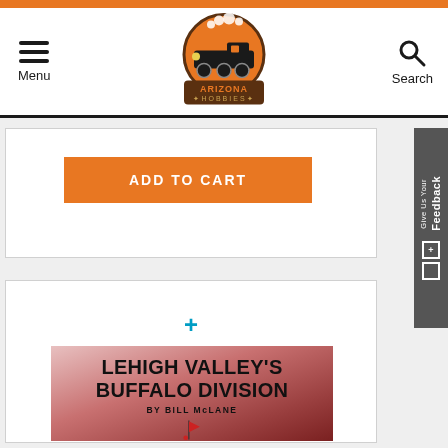Arizona Hobbies - Menu | Logo | Search
[Figure (logo): Arizona Hobbies logo: orange circle with black steam locomotive, text ARIZONA HOBBIES below]
ADD TO CART
[Figure (screenshot): Give Us Your Feedback tab on right side]
+
[Figure (photo): Book cover: Lehigh Valley's Buffalo Division by Bill McLane, red gradient background with railroad flag logo]